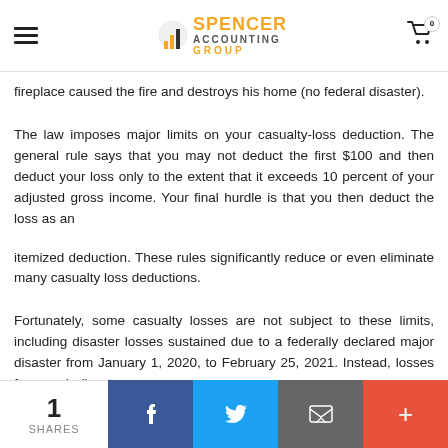Spencer Accounting Group
fireplace caused the fire and destroys his home (no federal disaster).
The law imposes major limits on your casualty-loss deduction. The general rule says that you may not deduct the first $100 and then deduct your loss only to the extent that it exceeds 10 percent of your adjusted gross income. Your final hurdle is that you then deduct the loss as an
itemized deduction. These rules significantly reduce or even eliminate many casualty loss deductions.
Fortunately, some casualty losses are not subject to these limits, including disaster losses sustained due to a federally declared major disaster from January 1, 2020, to February 25, 2021. Instead, losses from such disasters
1 SHARES | Facebook | Twitter | Email | +